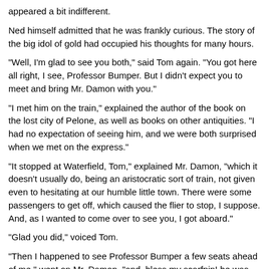appeared a bit indifferent.
Ned himself admitted that he was frankly curious. The story of the big idol of gold had occupied his thoughts for many hours.
"Well, I'm glad to see you both," said Tom again. "You got here all right, I see, Professor Bumper. But I didn't expect you to meet and bring Mr. Damon with you."
"I met him on the train," explained the author of the book on the lost city of Pelone, as well as books on other antiquities. "I had no expectation of seeing him, and we were both surprised when we met on the express."
"It stopped at Waterfield, Tom," explained Mr. Damon, "which it doesn't usually do, being an aristocratic sort of train, not given even to hesitating at our humble little town. There were some passengers to get off, which caused the flier to stop, I suppose. And, as I wanted to come over to see you, I got aboard."
"Glad you did," voiced Tom.
"Then I happened to see Professor Bumper a few seats ahead of me," went on Mr. Damon, "and, bless my scarfpin! he was coming to see you also."
"Well, I'm doubly glad," answered Tom.
"So here we are," went on Mr. Damon, "and you've simply got to come, Tom Swift. You must go with us!" and Mr. Damon, in his enthusiasm, banged his fist down on the table with such force that he knocked some books to the floor.